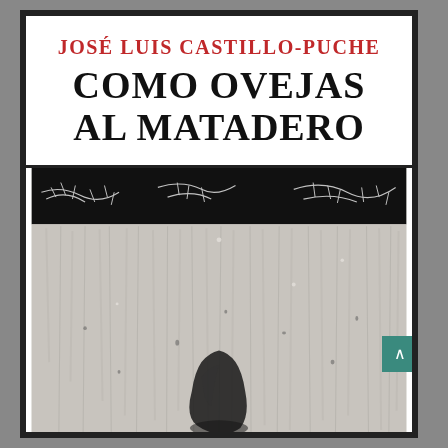JOSÉ LUIS CASTILLO-PUCHE
COMO OVEJAS AL MATADERO
[Figure (illustration): Book cover artwork: abstract black and white expressionist painting. Upper portion shows a dark black band with white scratchy marks resembling barbed wire or thorns. Below is a lighter grey-white area with vertical streaks and brushstrokes suggesting a curtain or rain, with a dark amorphous shape at the bottom center resembling a crouching or fallen figure.]